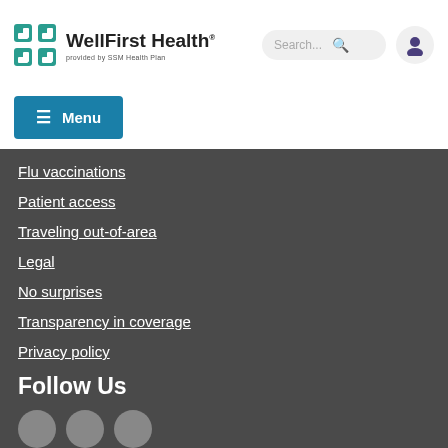[Figure (logo): WellFirst Health logo with teal cross icon and text 'WellFirst Health provided by SSM Health Plan']
[Figure (screenshot): Search bar with placeholder text 'Search...' and search icon]
[Figure (screenshot): User account icon circle button]
Menu
Flu vaccinations
Patient access
Traveling out-of-area
Legal
No surprises
Transparency in coverage
Privacy policy
Follow Us